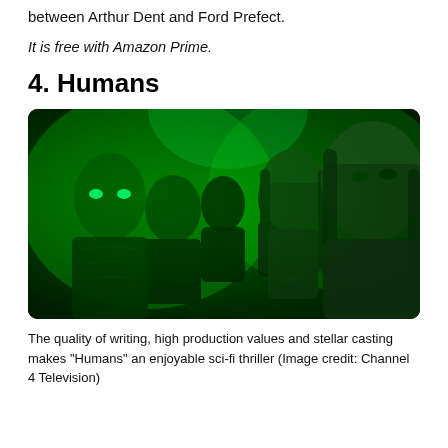between Arthur Dent and Ford Prefect.
It is free with Amazon Prime.
4. Humans
[Figure (photo): Promotional image for the TV show 'Humans' with a group of people bathed in green light, showing five individuals looking seriously at the camera against a dark green-lit background.]
The quality of writing, high production values and stellar casting makes "Humans" an enjoyable sci-fi thriller (Image credit: Channel 4 Television)